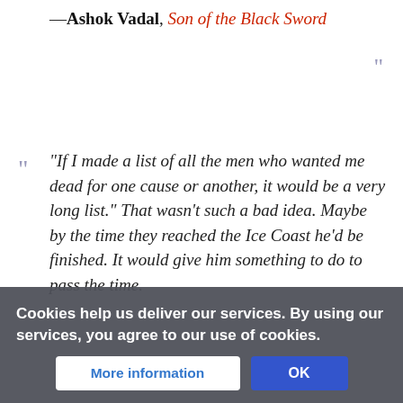—Ashok Vadal, Son of the Black Sword
"If I made a list of all the men who wanted me dead for one cause or another, it would be a very long list." That wasn't such a bad idea. Maybe by the time they reached the Ice Coast he'd be finished. It would give him something to do to pass the time.
—Ashok Vadal, Son of the Black Sword
"The more closely our own pistols resemble machine-guns, the better we
—William Ewart Fairbairn and Eric Anth...
Cookies help us deliver our services. By using our services, you agree to our use of cookies.